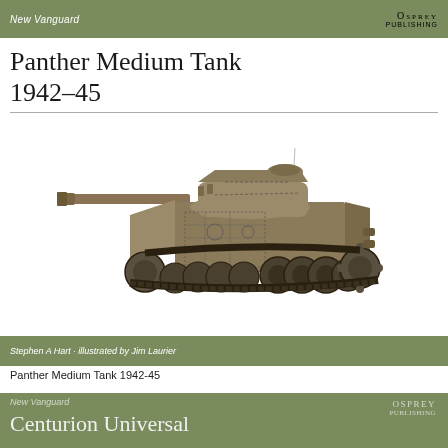New Vanguard | OSPREY PUBLISHING
Panther Medium Tank 1942–45
[Figure (illustration): Cutaway illustration of a Panther medium tank showing exterior armor and interior mechanical components, in tan/brown desert camouflage scheme, viewed from a three-quarter front-left angle]
Stephen A Hart · illustrated by Jim Laurier
Panther Medium Tank 1942-45
[Figure (illustration): Partial view of second Osprey New Vanguard book cover showing green header bar with 'New Vanguard' series label and Osprey logo, and partially visible title 'Centurion Universal']